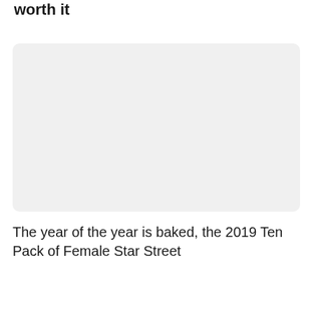worth it
[Figure (photo): Empty light gray rectangular placeholder image with rounded corners]
The year of the year is baked, the 2019 Ten Pack of Female Star Street